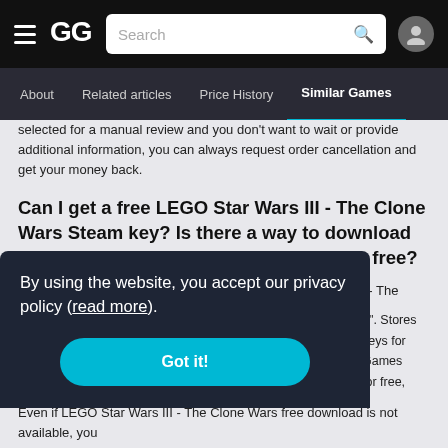GG Search navigation bar with hamburger menu, GG logo, search box, and user icon
About | Related articles | Price History | Similar Games
selected for a manual review and you don't want to wait or provide additional information, you can always request order cancellation and get your money back.
Can I get a free LEGO Star Wars III - The Clone Wars Steam key? Is there a way to download LEGO Star Wars III - The Clone Wars for free?
If you're short on money and want to get LEGO Star Wars III - The Clone Wars for free, there are a couple of ways for you to try:
[Figure (screenshot): Cookie consent overlay popup on dark background with text: By using the website, you accept our privacy policy (read more). and a 'Got it!' button in teal/cyan color.]
Even if LEGO Star Wars III - The Clone Wars free download is not available, you